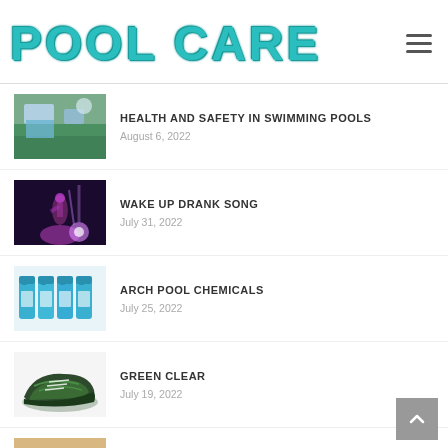POOL CARE
HEALTH AND SAFETY IN SWIMMING POOLS
August 6, 2022
WAKE UP DRANK SONG
July 31, 2022
ARCH POOL CHEMICALS
July 25, 2022
GREEN CLEAR
July 19, 2022
SAND FILTERS FOR SWIMMING POOLS